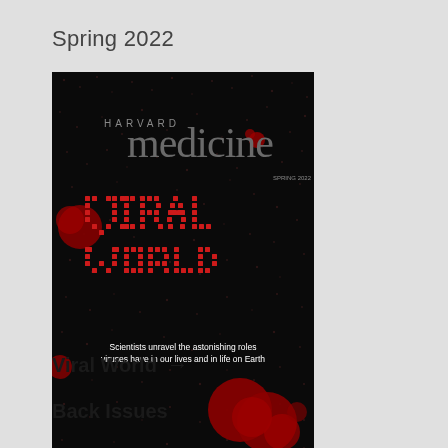Spring 2022
[Figure (photo): Cover of Harvard Medicine magazine, Spring 2022 issue. Black background with red dot-matrix style text reading 'VIRAL WORLD'. Header reads 'HARVARD medicine'. Subtitle text: 'Scientists unravel the astonishing roles viruses have in our lives and in life on Earth']
Viral World →
Back Issues